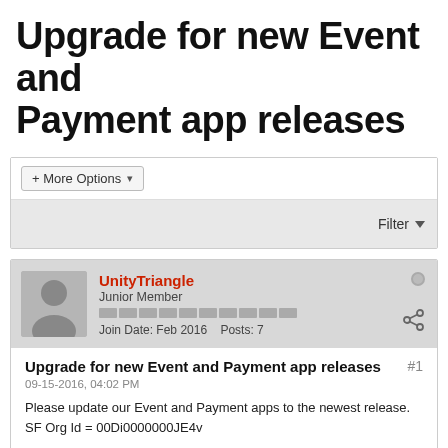Upgrade for new Event and Payment app releases
+ More Options ▾
Filter ▼
UnityTriangle
Junior Member
Join Date: Feb 2016   Posts: 7
Upgrade for new Event and Payment app releases   #1
09-15-2016, 04:02 PM
Please update our Event and Payment apps to the newest release. SF Org Id = 00Di0000000JE4v